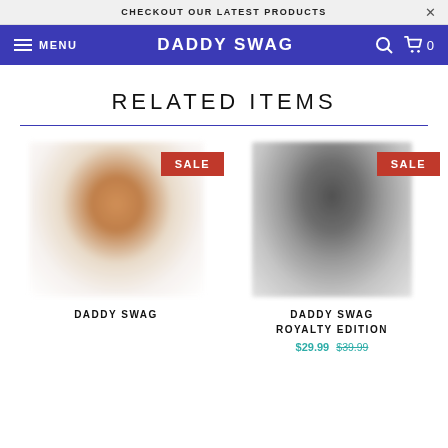CHECKOUT OUR LATEST PRODUCTS
DADDY SWAG  MENU  0
RELATED ITEMS
[Figure (photo): Blurred product photo of a person with a beard wearing a white hoodie, with a red SALE badge]
[Figure (photo): Blurred product photo of a person in a dark t-shirt, with a red SALE badge]
DADDY SWAG
DADDY SWAG ROYALTY EDITION
$29.99 $39.99